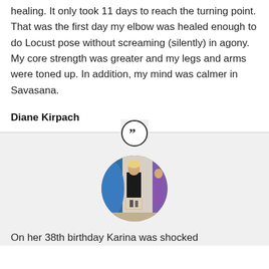healing. It only took 11 days to reach the turning point. That was the first day my elbow was healed enough to do Locust pose without screaming (silently) in agony. My core strength was greater and my legs and arms were toned up. In addition, my mind was calmer in Savasana.
Diane Kirpach
[Figure (photo): Circular profile photo of Karina showing a woman in black clothing, with a smaller photo visible in front and colorful background elements on the sides.]
On her 38th birthday Karina was shocked